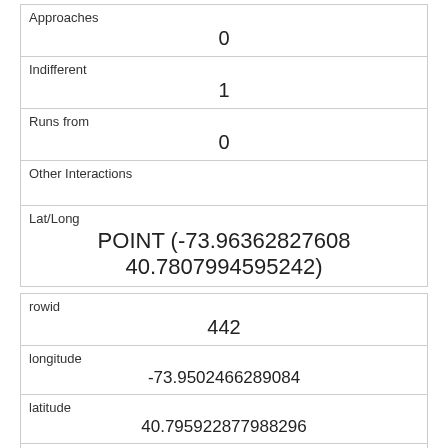| Approaches | 0 |
| Indifferent | 1 |
| Runs from | 0 |
| Other Interactions |  |
| Lat/Long | POINT (-73.96362827608 40.7807994595242) |
| rowid | 442 |
| longitude | -73.9502466289084 |
| latitude | 40.795922877988296 |
| Unique Squirrel ID | 41I-AM-1018-02 |
| Hectare | 41I |